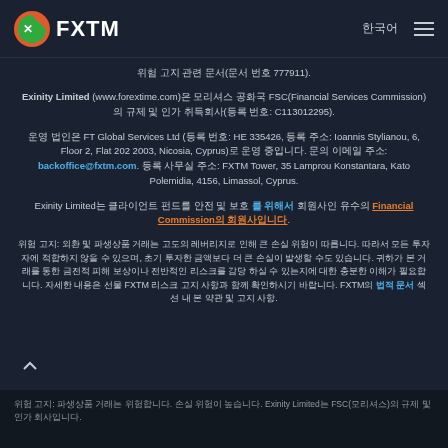FXTM 한국어 ☰
위험 고지 관련 문서(문서 번호 777911).
Exinity Limited (www.forextime.com)은 모리셔스 공화국 FSC(Financial Services Commission)의 규제 및 인가 취득회사(등록 번호: C113012295).
운영 법인은 FT Global Services Ltd (등록 번호: HE 335426, 등록 주소: Ioannis Stylianou, 6, Floor 2, Flat 202 2003, Nicosia, Cyprus)로 운영 중입니다. 문의 이메일 주소: backoffice@fxtm.com. 등록 사무실 주소: FXTM Tower, 35 Lamprou Konstantara, Kato Polemidia, 4156, Limassol, Cyprus.
Exinity Limited는 클라이언트 펀드를 안전 및 보호를 위해서 회원사인 유수의 Financial Commission의 회원사입니다.
위험 고지: 외환 및 파생상품 거래는 고도의 레버리지로 인해 큰 손실 위험이 따릅니다. 따라서 모든 투자자에 적합하지 않을 수 있으며, 초기 투자한 금액보다 더 큰 손실이 발생할 수도 있습니다. 귀하가 본 거래를 통한 금전적 피해 보상이나 전반적인 리스크를 감당 하실 수 있는지에 대한 충분한 이해가 필요합니다. 자세한 내용은 선물 FXTM 리스크 고지 사항과 함께 확인하시기 바랍니다. FXTM의 법적 문서 섹션 내 본 약관 및 고지 사항.
위험 고지: 파생상품 거래는 위험합니다. 손실 위험이 높습니다. Exinity Limited는 FSC(모리셔스)의 규제 및 인가 회사입니다.